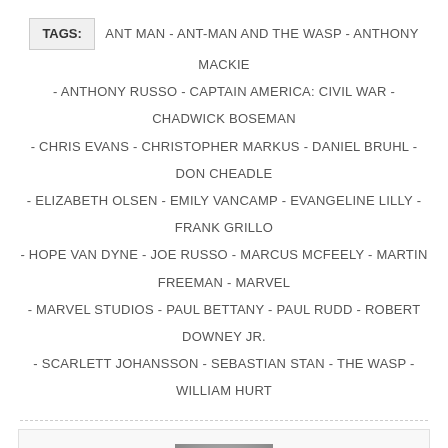TAGS: ANT MAN - ANT-MAN AND THE WASP - ANTHONY MACKIE - ANTHONY RUSSO - CAPTAIN AMERICA: CIVIL WAR - CHADWICK BOSEMAN - CHRIS EVANS - CHRISTOPHER MARKUS - DANIEL BRUHL - DON CHEADLE - ELIZABETH OLSEN - EMILY VANCAMP - EVANGELINE LILLY - FRANK GRILLO - HOPE VAN DYNE - JOE RUSSO - MARCUS MCFEELY - MARTIN FREEMAN - MARVEL - MARVEL STUDIOS - PAUL BETTANY - PAUL RUDD - ROBERT DOWNEY JR. - SCARLETT JOHANSSON - SEBASTIAN STAN - THE WASP - WILLIAM HURT
[Figure (photo): Headshot of Ben Silverio, a man wearing glasses, a black vest, and a blue shirt, photographed against a light gray background.]
BEN SILVERIO
Ben F. Silverio received a degree from Drexel University in the Screenwriting and Playwriting Program with a minor in Television Production. Whilst at Drexel, Ben performed and has been vocal...